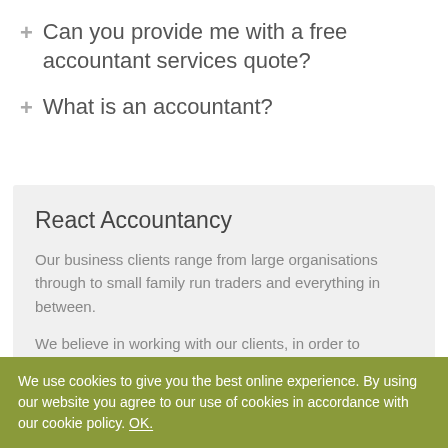Can you provide me with a free accountant services quote?
What is an accountant?
React Accountancy
Our business clients range from large organisations through to small family run traders and everything in between.
We believe in working with our clients, in order to provide a truly personal service. We take time to learn about and understand each clients business objectives.
We use cookies to give you the best online experience. By using our website you agree to our use of cookies in accordance with our cookie policy. OK.